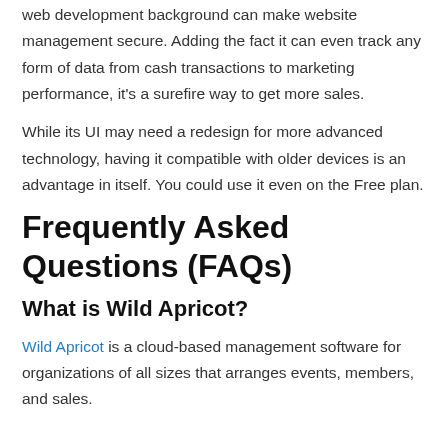web development background can make website management secure. Adding the fact it can even track any form of data from cash transactions to marketing performance, it's a surefire way to get more sales.
While its UI may need a redesign for more advanced technology, having it compatible with older devices is an advantage in itself. You could use it even on the Free plan.
Frequently Asked Questions (FAQs)
What is Wild Apricot?
Wild Apricot is a cloud-based management software for organizations of all sizes that arranges events, members, and sales.